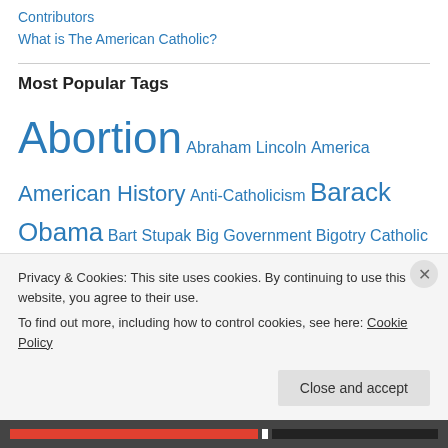Contributors
What is The American Catholic?
Most Popular Tags
Abortion Abraham Lincoln America American History Anti-Catholicism Barack Obama Bart Stupak Big Government Bigotry Catholic Chaplains Catholic Church Catholicism Catholic Social Teaching Christianity Civil War Conservatism Culture Culture of Death Culture of Life
Privacy & Cookies: This site uses cookies. By continuing to use this website, you agree to their use.
To find out more, including how to control cookies, see here: Cookie Policy
Close and accept